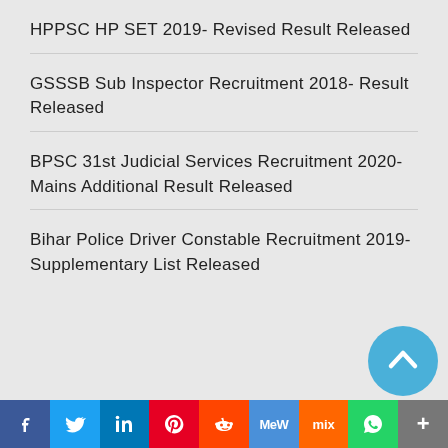HPPSC HP SET 2019- Revised Result Released
GSSSB Sub Inspector Recruitment 2018- Result Released
BPSC 31st Judicial Services Recruitment 2020- Mains Additional Result Released
Bihar Police Driver Constable Recruitment 2019- Supplementary List Released
[Figure (infographic): Social media sharing bar with icons: Facebook, Twitter, LinkedIn, Pinterest, Reddit, MeWe, Mix, WhatsApp, More]